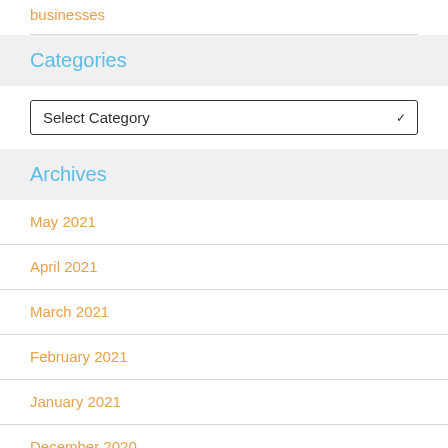businesses
Categories
[Figure (screenshot): Select Category dropdown box]
Archives
May 2021
April 2021
March 2021
February 2021
January 2021
December 2020